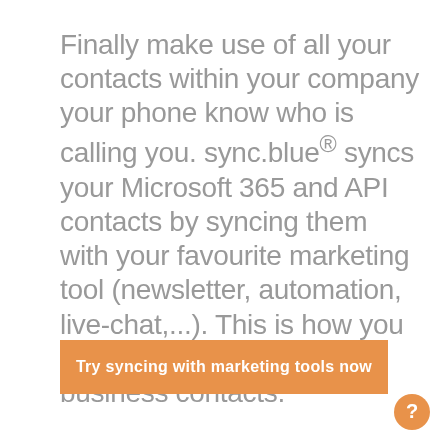Finally make use of all your contacts within your company your phone know who is calling you. sync.blue® syncs your Microsoft 365 and API contacts by syncing them with your favourite marketing tool (newsletter, automation, live-chat,...). This is how you make money of your business contacts.
Try syncing with marketing tools now